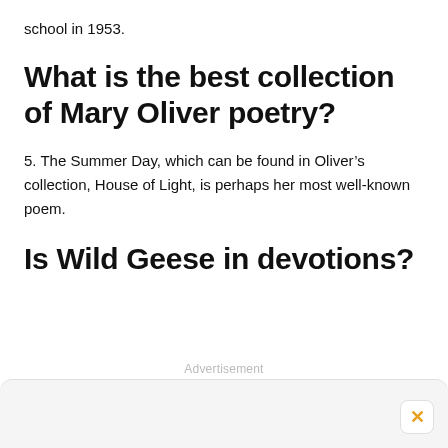school in 1953.
What is the best collection of Mary Oliver poetry?
5. The Summer Day, which can be found in Oliver’s collection, House of Light, is perhaps her most well-known poem.
Is Wild Geese in devotions?
Advertisement